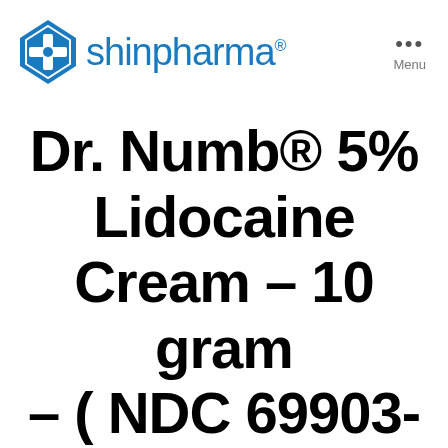[Figure (logo): Shinpharma logo with diamond/cross shield icon in blue and teal, brand name 'shinpharma' in blue sans-serif font with registered trademark symbol]
Menu
Dr. Numb® 5% Lidocaine Cream – 10 gram – ( NDC 69903-004-10 )